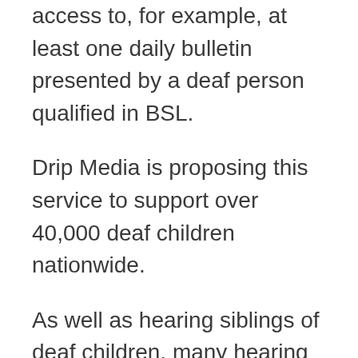access to, for example, at least one daily bulletin presented by a deaf person qualified in BSL.
Drip Media is proposing this service to support over 40,000 deaf children nationwide.
As well as hearing siblings of deaf children, many hearing children are enjoying sign language classes, including in after school clubs.  They, too, would benefit from being exposed to this medium, which would support their learning about deaf people and our cu...